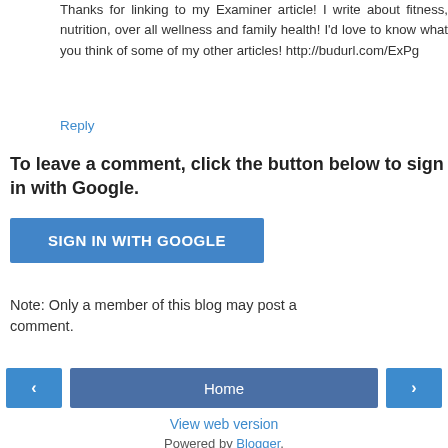Thanks for linking to my Examiner article! I write about fitness, nutrition, over all wellness and family health! I'd love to know what you think of some of my other articles! http://budurl.com/ExPg
Reply
To leave a comment, click the button below to sign in with Google.
[Figure (other): SIGN IN WITH GOOGLE button (blue)]
Note: Only a member of this blog may post a comment.
[Figure (other): Navigation row with left arrow, Home button, and right arrow buttons]
View web version
Powered by Blogger.